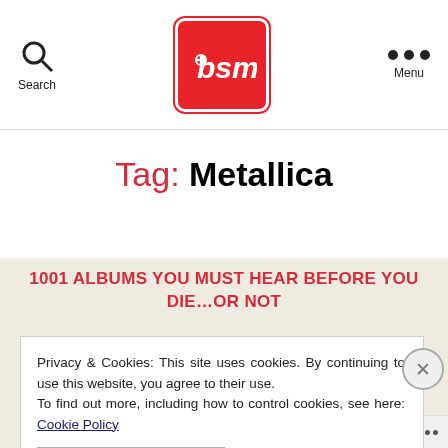Search [BSM logo] Menu
Tag: Metallica
1001 ALBUMS YOU MUST HEAR BEFORE YOU DIE…OR NOT
Privacy & Cookies: This site uses cookies. By continuing to use this website, you agree to their use. To find out more, including how to control cookies, see here: Cookie Policy
CLOSE AND ACCEPT